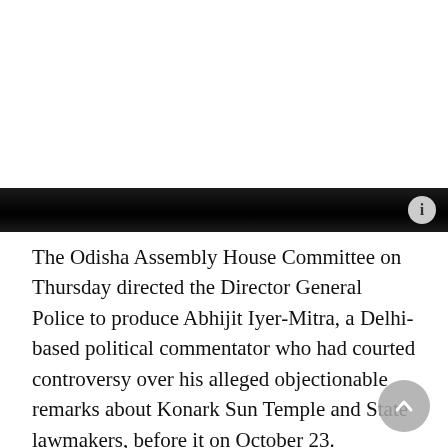[Figure (photo): Image area at top of article page, mostly white/blank with dark bar at bottom]
The Odisha Assembly House Committee on Thursday directed the Director General Police to produce Abhijit Iyer-Mitra, a Delhi-based political commentator who had courted controversy over his alleged objectionable remarks about Konark Sun Temple and State lawmakers, before it on October 23.
The House Committee is probing allegations of breach of privilege against Mr. Iyer-Mitra who had reportedly passed derogatory remarks against the State MLAs.